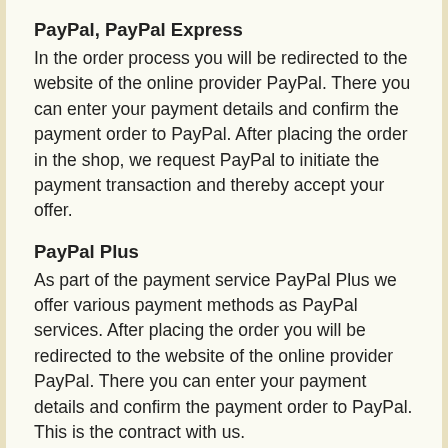PayPal, PayPal Express
In the order process you will be redirected to the website of the online provider PayPal. There you can enter your payment details and confirm the payment order to PayPal. After placing the order in the shop, we request PayPal to initiate the payment transaction and thereby accept your offer.
PayPal Plus
As part of the payment service PayPal Plus we offer various payment methods as PayPal services. After placing the order you will be redirected to the website of the online provider PayPal. There you can enter your payment details and confirm the payment order to PayPal. This is the contract with us.
Cash on pickup
We accept your order by sending a declaration of acceptance in separate e-mail within two days.
3. Contract language, contract text storage
The language available for the contract is German and English.
We save the contract text and send you the order data and our terms and conditions by e-mail. You can see the contract